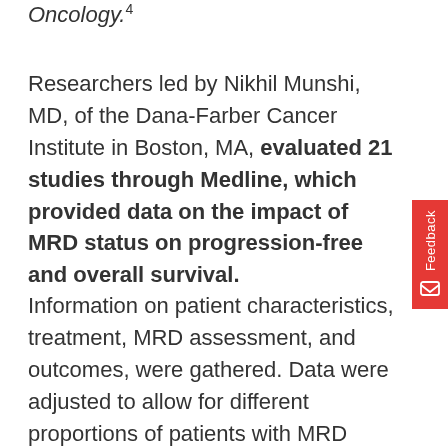Oncology.
Researchers led by Nikhil Munshi, MD, of the Dana-Farber Cancer Institute in Boston, MA, evaluated 21 studies through Medline, which provided data on the impact of MRD status on progression-free and overall survival.
Information on patient characteristics, treatment, MRD assessment, and outcomes, were gathered. Data were adjusted to allow for different proportions of patients with MRD across the studies.